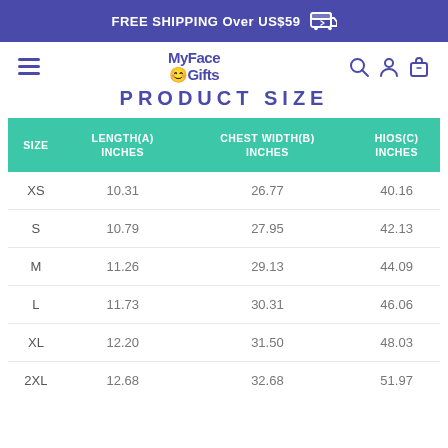FREE SHIPPING Over US$59
[Figure (logo): MyFace Gifts logo with hamburger menu icon on left and search, user, cart icons on right]
PRODUCT SIZE
| SIZE | LENGTH(A) INCHES | CHEST WIDTH(B) INCHES | HIOS(C) INCHES |
| --- | --- | --- | --- |
| XS | 10.31 | 26.77 | 40.16 |
| S | 10.79 | 27.95 | 42.13 |
| M | 11.26 | 29.13 | 44.09 |
| L | 11.73 | 30.31 | 46.06 |
| XL | 12.20 | 31.50 | 48.03 |
| 2XL | 12.68 | 32.68 | 51.97 |